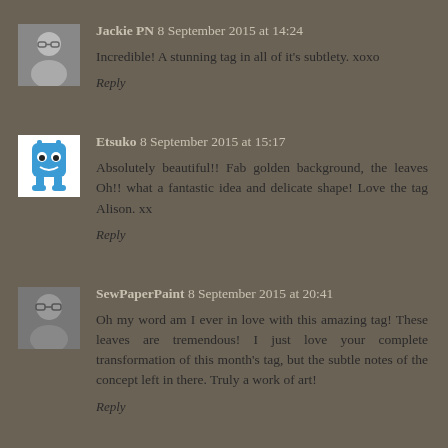Jackie PN 8 September 2015 at 14:24
Incredible! A stunning tag in all of it’s subtlety. xoxo
Reply
Etsuko 8 September 2015 at 15:17
Absolutely beautiful!! Fab golden background, the leaves Oh!! what a fantastic idea and delicate shape! Love the tag Alison. xx
Reply
SewPaperPaint 8 September 2015 at 20:41
Oh my word am I ever in love with this amazing tag! These leaves are tremendous! I just love your complete transformation of this month’s tag, but the subtle notes of the concept left in there. Truly a work of art!
Reply